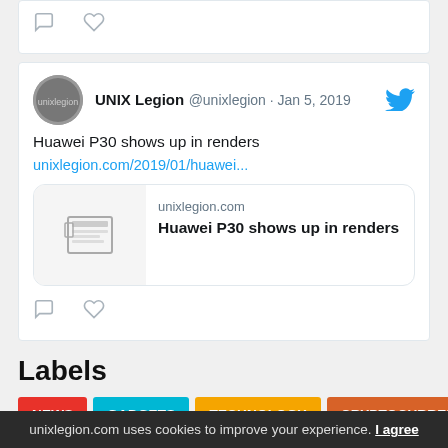[Figure (screenshot): Top of a tweet card showing comment and like icons at the bottom]
[Figure (screenshot): Tweet from UNIX Legion @unixlegion on Jan 5, 2019 about Huawei P30 shows up in renders, with a link preview card showing unixlegion.com]
Labels
NEWS
GADGETS
TECHNOLOGY
CRYPTOCURRENCY
BUSINESS
TESLA
JULIANASSANGE
MOBILE
OFF-ROAD
unixlegion.com uses cookies to improve your experience. I agree